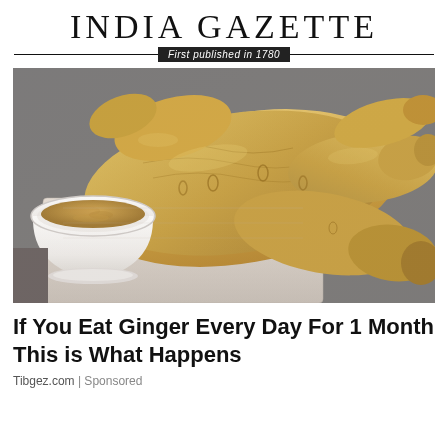India Gazette — First published in 1780
[Figure (photo): Close-up photo of fresh ginger root pieces on a wooden cutting board, with a small white bowl of ground ginger powder on the left side]
If You Eat Ginger Every Day For 1 Month This is What Happens
Tibgez.com | Sponsored